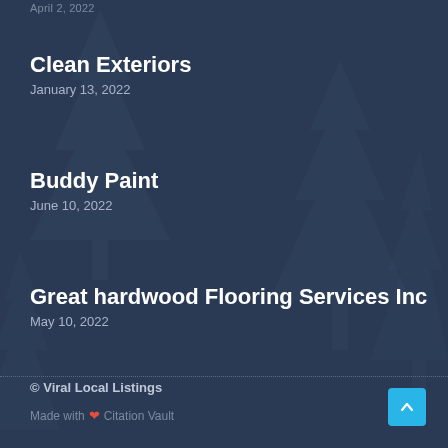April 2, 2022
Clean Exteriors
January 13, 2022
Buddy Paint
June 10, 2022
Great hardwood Flooring Services Inc
May 10, 2022
© Viral Local Listings
Made with ❤ Citation Vault